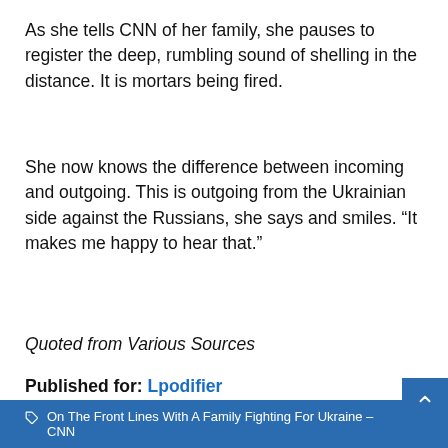As she tells CNN of her family, she pauses to register the deep, rumbling sound of shelling in the distance. It is mortars being fired.
She now knows the difference between incoming and outgoing. This is outgoing from the Ukrainian side against the Russians, she says and smiles. “It makes me happy to hear that.”
Quoted from Various Sources
Published for: Lpodifier
Europe
On The Front Lines With A Family Fighting For Ukraine – CNN